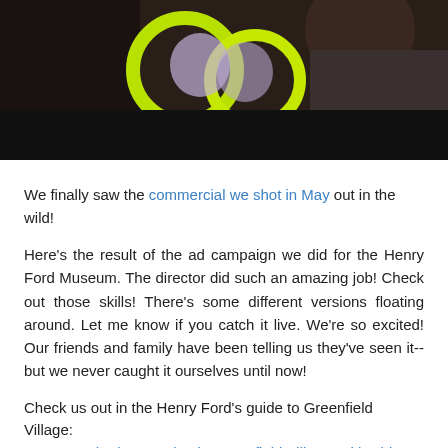[Figure (photo): Photo of people with colorful balloons/toys, dark background, yellow-green circular shapes visible]
We finally saw the commercial we shot in May out in the wild!
Here's the result of the ad campaign we did for the Henry Ford Museum. The director did such an amazing job! Check out those skills! There's some different versions floating around. Let me know if you catch it live. We're so excited! Our friends and family have been telling us they've seen it-- but we never caught it ourselves until now!
Check us out in the Henry Ford's guide to Greenfield Village:
Henry Ford Ad Campaign in Greenfield Village, with Kids
0 Comments
Exploring Michigan: Dearborn and the Michigan...